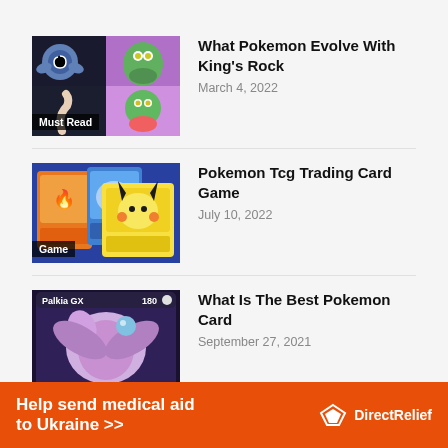[Figure (photo): Thumbnail collage of four Pokemon characters including Poliwrath and others on dark/purple backgrounds]
What Pokemon Evolve With King's Rock
March 4, 2022
[Figure (photo): Thumbnail of Pokemon TCG cards showing Charizard, Mewtwo and Pikachu]
Pokemon Tcg Trading Card Game
July 10, 2022
[Figure (photo): Pokemon card featuring Palkia GX with 180 HP]
What Is The Best Pokemon Card
September 27, 2021
Help send medical aid to Ukraine >>